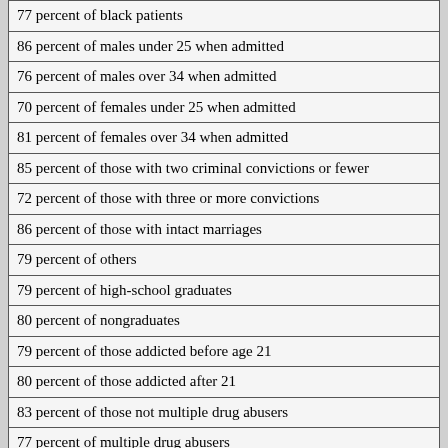| 77 percent of black patients |
| 86 percent of males under 25 when admitted |
| 76 percent of males over 34 when admitted |
| 70 percent of females under 25 when admitted |
| 81 percent of females over 34 when admitted |
| 85 percent of those with two criminal convictions or fewer |
| 72 percent of those with three or more convictions |
| 86 percent of those with intact marriages |
| 79 percent of others |
| 79 percent of high-school graduates |
| 80 percent of nongraduates |
| 79 percent of those addicted before age 21 |
| 80 percent of those addicted after 21 |
| 83 percent of those not multiple drug abusers |
| 77 percent of multiple drug abusers |
| 82 percent of those without history of alcohol abuse |
| 75 percent of those with history of alcohol abuse... |